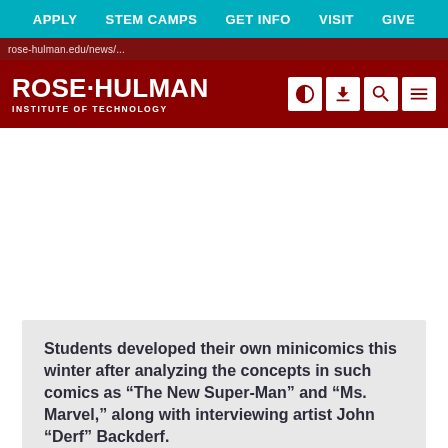APPLY  STEM CAMPS  GET INFO  VISIT  GIVE
[Figure (logo): Rose-Hulman Institute of Technology logo on dark red header bar with navigation icons]
[Figure (photo): Large image area (appears white/blank in cropped view)]
Students developed their own minicomics this winter after analyzing the concepts in such comics as “The New Super-Man” and “Ms. Marvel,” along with interviewing artist John “Derf” Backderf.
With the same spirit that characters such as Batman,